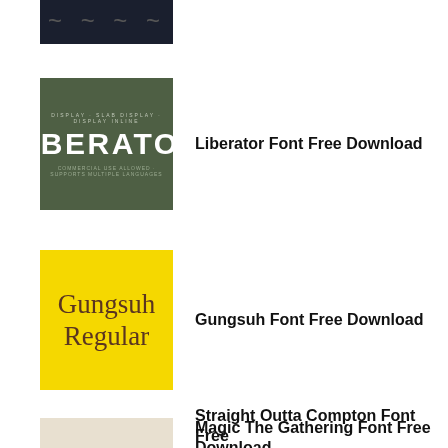[Figure (illustration): Partial dark navy banner with decorative text/glyphs, cropped at top of page]
[Figure (illustration): Liberator font preview on dark olive/green background with 'LIBERATOR' in large bold white letters]
Liberator Font Free Download
[Figure (illustration): Gungsuh font preview on yellow background with 'Gungsuh Regular' in serif brown text]
Gungsuh Font Free Download
[Figure (illustration): Straight Outta Generator logo with bold black text in bordered box on white background]
Straight Outta Compton Font Free Download
Magic The Gathering Font Free Download